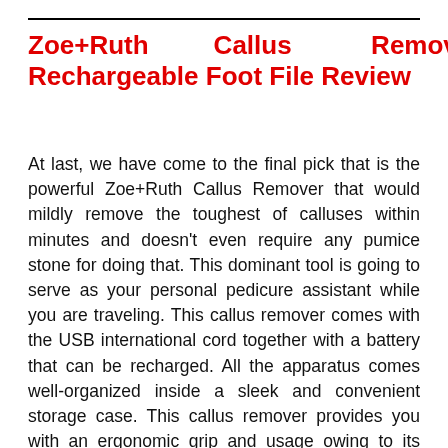Zoe+Ruth Callus Remover Rechargeable Foot File Review
At last, we have come to the final pick that is the powerful Zoe+Ruth Callus Remover that would mildly remove the toughest of calluses within minutes and doesn't even require any pumice stone for doing that. This dominant tool is going to serve as your personal pedicure assistant while you are traveling. This callus remover comes with the USB international cord together with a battery that can be recharged. All the apparatus comes well-organized inside a sleek and convenient storage case. This callus remover provides you with an ergonomic grip and usage owing to its lightweight design and portability.